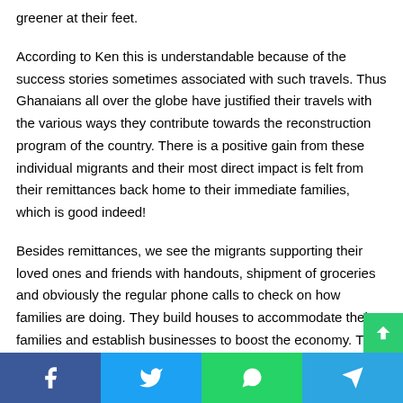greener at their feet.
According to Ken this is understandable because of the success stories sometimes associated with such travels. Thus Ghanaians all over the globe have justified their travels with the various ways they contribute towards the reconstruction program of the country. There is a positive gain from these individual migrants and their most direct impact is felt from their remittances back home to their immediate families, which is good indeed!
Besides remittances, we see the migrants supporting their loved ones and friends with handouts, shipment of groceries and obviously the regular phone calls to check on how families are doing. They build houses to accommodate their families and establish businesses to boost the economy. The
Social share bar: Facebook, Twitter, WhatsApp, Telegram